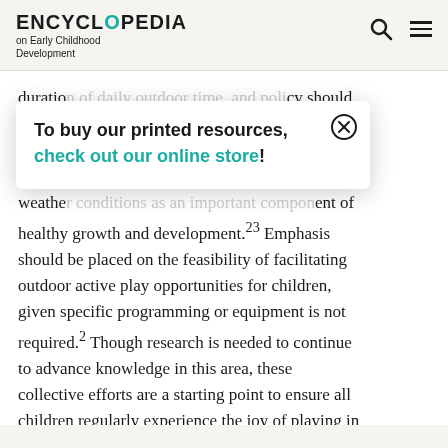ENCYCLOPEDIA on Early Childhood Development
duration of daily outdoor time, and policy should be upon [obscured by popup] y, health [obscured] ective outdoor [obscured] weather conditions as an important component of healthy growth and development.23 Emphasis should be placed on the feasibility of facilitating outdoor active play opportunities for children, given specific programming or equipment is not required.2 Though research is needed to continue to advance knowledge in this area, these collective efforts are a starting point to ensure all children regularly experience the joy of playing in the great outdoors.
[Figure (other): Popup/modal overlay with text: 'To buy our printed resources, check out our online store!' with a close (X) button in top-right corner.]